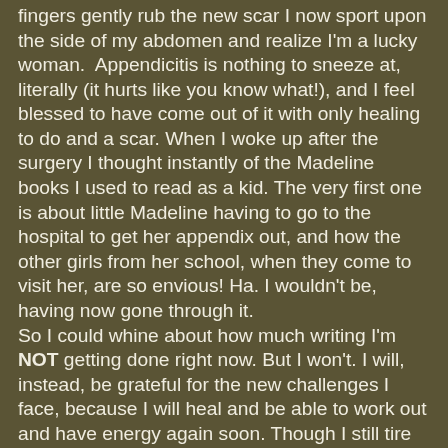fingers gently rub the new scar I now sport upon the side of my abdomen and realize I'm a lucky woman.  Appendicitis is nothing to sneeze at, literally (it hurts like you know what!), and I feel blessed to have come out of it with only healing to do and a scar. When I woke up after the surgery I thought instantly of the Madeline books I used to read as a kid. The very first one is about little Madeline having to go to the hospital to get her appendix out, and how the other girls from her school, when they come to visit her, are so envious! Ha. I wouldn't be, having now gone through it.
So I could whine about how much writing I'm NOT getting done right now. But I won't. I will, instead, be grateful for the new challenges I face, because I will heal and be able to work out and have energy again soon. Though I still tire easily, today marks the fifth week since my surgery, which leaves one week left before I can begin in earnest to get back on top of things and WRITE.
I am, truly glad to have time to catch up on life in a slow way, cooking, gardening, talking with family, snuggling our pup and, of course, adoring my husband who has taken great care of me.  So this month my advice is, smile. Challenges in life are here to stay. Trust in a smile to help you march on.